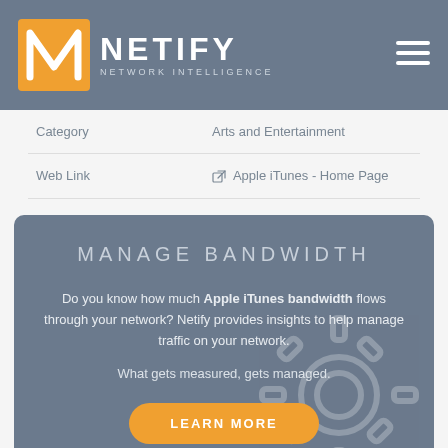[Figure (logo): Netify Network Intelligence logo with orange N icon and white text]
| Category | Arts and Entertainment |
| Web Link | 🔗 Apple iTunes - Home Page |
MANAGE BANDWIDTH
Do you know how much Apple iTunes bandwidth flows through your network? Netify provides insights to help manage traffic on your network.
What gets measured, gets managed.
LEARN MORE